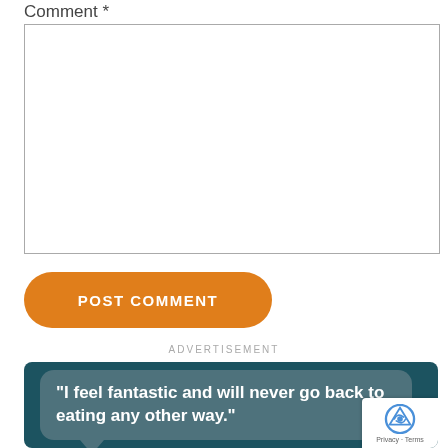Comment *
[Figure (screenshot): Empty comment textarea input box with a border]
[Figure (other): Orange rounded POST COMMENT button]
ADVERTISEMENT
[Figure (other): Dark teal advertisement banner with a speech bubble containing the text: "I feel fantastic and will never go back to eating any other way." with a reCAPTCHA badge overlay in the corner showing Privacy · Terms]